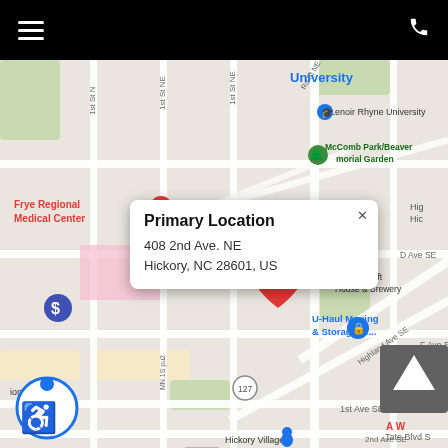[Figure (screenshot): Mobile app screenshot showing Google Maps view of Hickory, NC area with a red location pin at 408 2nd Ave NE. Map shows nearby landmarks including Frye Regional Medical Center, Lenoir Rhyne University, McComb Park/Beaver Memorial Garden, U-Haul Moving & Storage, Rock Draft House & Brewery, Boca restaurant, Hickory Village Memory Care, and various streets. A white popup card labeled 'Primary Location' shows the address 408 2nd Ave. NE, Hickory, NC 28601, US. A black top navigation bar contains a hamburger menu icon on the left and a phone icon on the right.]